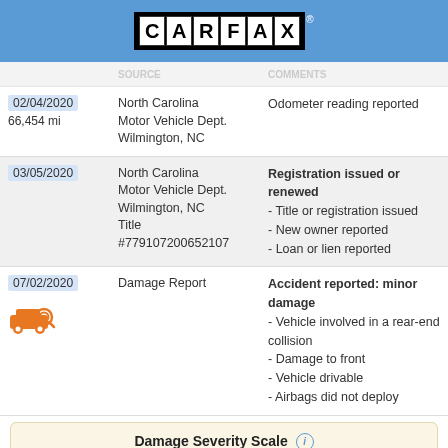[Figure (logo): CARFAX logo: white letters C, A, R, F, A, X in individual black-bordered boxes on blue background with trademark symbol]
| Date/Mileage | Source | Comments |
| --- | --- | --- |
| 02/04/2020
66,454 mi | North Carolina Motor Vehicle Dept.
Wilmington, NC | Odometer reading reported |
| 03/05/2020 | North Carolina Motor Vehicle Dept.
Wilmington, NC
Title #779107200652107 | Registration issued or renewed
- Title or registration issued
- New owner reported
- Loan or lien reported |
| 07/02/2020 | Damage Report | Accident reported: minor damage
- Vehicle involved in a rear-end collision
- Damage to front
- Vehicle drivable
- Airbags did not deploy |
[Figure (infographic): Damage Severity Scale bar showing MINOR, MODERATE, SEVERE with hatched fill indicating minor damage level]